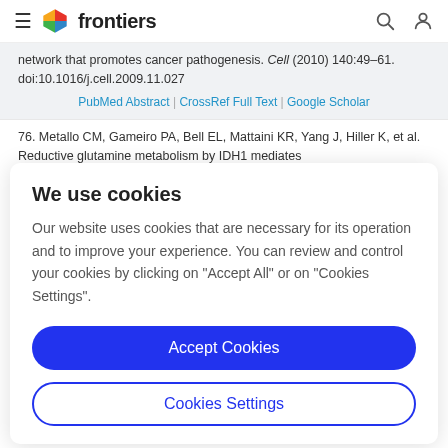frontiers
network that promotes cancer pathogenesis. Cell (2010) 140:49–61. doi:10.1016/j.cell.2009.11.027
PubMed Abstract | CrossRef Full Text | Google Scholar
76. Metallo CM, Gameiro PA, Bell EL, Mattaini KR, Yang J, Hiller K, et al. Reductive glutamine metabolism by IDH1 mediates
We use cookies
Our website uses cookies that are necessary for its operation and to improve your experience. You can review and control your cookies by clicking on "Accept All" or on "Cookies Settings".
Accept Cookies
Cookies Settings